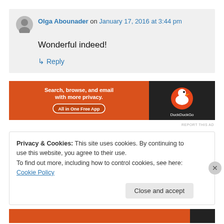Olga Abounader on January 17, 2016 at 3:44 pm
Wonderful indeed!
↳ Reply
[Figure (screenshot): DuckDuckGo advertisement banner: orange section with text 'Search, browse, and email with more privacy. All in One Free App' and dark section with DuckDuckGo logo]
REPORT THIS AD
Privacy & Cookies: This site uses cookies. By continuing to use this website, you agree to their use.
To find out more, including how to control cookies, see here: Cookie Policy
Close and accept